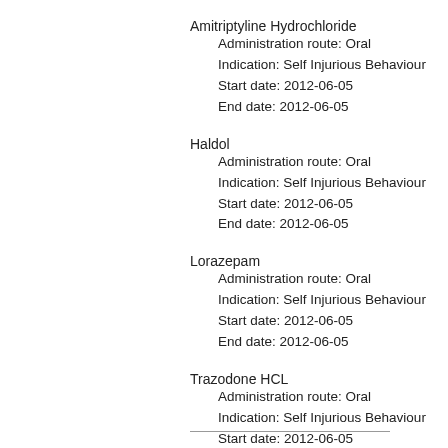Amitriptyline Hydrochloride
    Administration route: Oral
    Indication: Self Injurious Behaviour
    Start date: 2012-06-05
    End date: 2012-06-05
Haldol
    Administration route: Oral
    Indication: Self Injurious Behaviour
    Start date: 2012-06-05
    End date: 2012-06-05
Lorazepam
    Administration route: Oral
    Indication: Self Injurious Behaviour
    Start date: 2012-06-05
    End date: 2012-06-05
Trazodone HCL
    Administration route: Oral
    Indication: Self Injurious Behaviour
    Start date: 2012-06-05
    End date: 2012-06-05